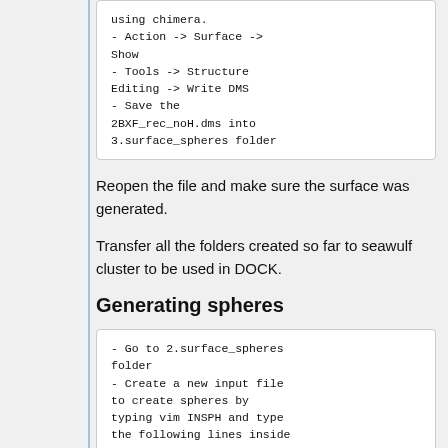using chimera.
 - Action -> Surface -> Show
 - Tools -> Structure Editing -> Write DMS
 - Save the 2BXF_rec_noH.dms into 3.surface_spheres folder
Reopen the file and make sure the surface was generated.
Transfer all the folders created so far to seawulf cluster to be used in DOCK.
Generating spheres
- Go to 2.surface_spheres folder
 - Create a new input file to create spheres by typing vim INSPH and type the following lines inside